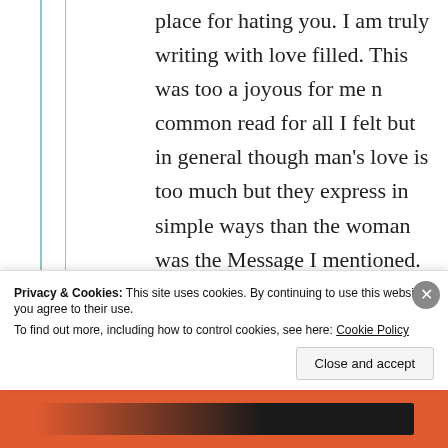place for hating you. I am truly writing with love filled. This was too a joyous for me n common read for all I felt but in general though man's love is too much but they express in simple ways than the woman was the Message I mentioned. No abuse or hurts Please. I
Privacy & Cookies: This site uses cookies. By continuing to use this website, you agree to their use. To find out more, including how to control cookies, see here: Cookie Policy